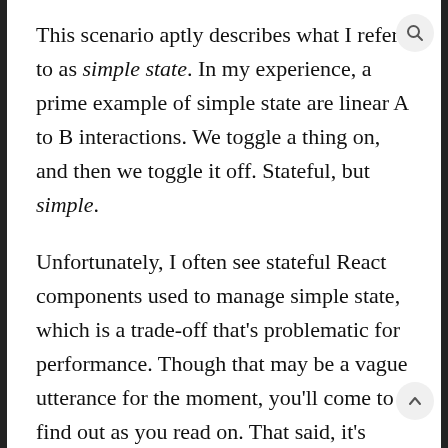This scenario aptly describes what I refer to as simple state. In my experience, a prime example of simple state are linear A to B interactions. We toggle a thing on, and then we toggle it off. Stateful, but simple.
Unfortunately, I often see stateful React components used to manage simple state, which is a trade-off that's problematic for performance. Though that may be a vague utterance for the moment, you'll come to find out as you read on. That said, it's important to emphasize that this is a trivial example, but it's also a canary. Most developers—I hope—aren't going to rely solely on React to drive such simple behavior for just one thing on their website. So it's vital to understand